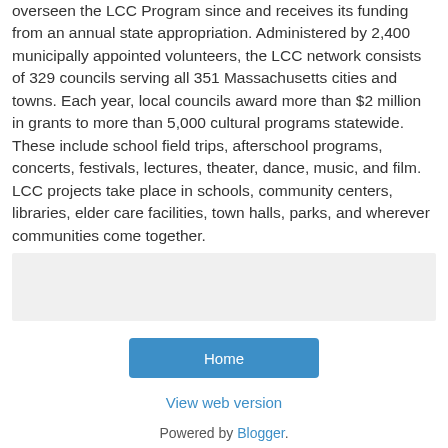overseen the LCC Program since and receives its funding from an annual state appropriation. Administered by 2,400 municipally appointed volunteers, the LCC network consists of 329 councils serving all 351 Massachusetts cities and towns. Each year, local councils award more than $2 million in grants to more than 5,000 cultural programs statewide. These include school field trips, afterschool programs, concerts, festivals, lectures, theater, dance, music, and film. LCC projects take place in schools, community centers, libraries, elder care facilities, town halls, parks, and wherever communities come together.
[Figure (other): Gray rectangular placeholder box]
Home
View web version
Powered by Blogger.